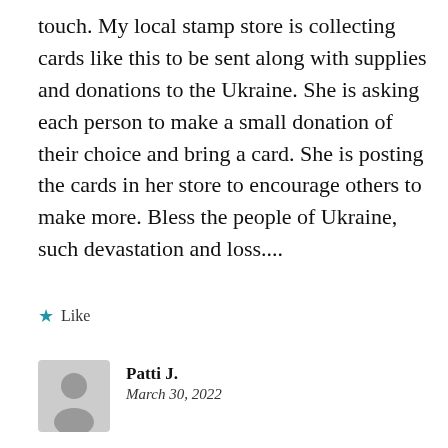touch. My local stamp store is collecting cards like this to be sent along with supplies and donations to the Ukraine. She is asking each person to make a small donation of their choice and bring a card. She is posting the cards in her store to encourage others to make more. Bless the people of Ukraine, such devastation and loss....
★ Like
Patti J.
March 30, 2022
Wowzers, this is stunning! Thanks for inspiring me